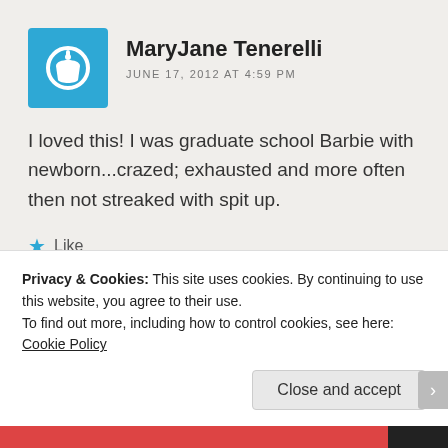MaryJane Tenerelli
JUNE 17, 2012 AT 4:59 PM
I loved this! I was graduate school Barbie with newborn...crazed; exhausted and more often then not streaked with spit up.
★ Like
★★★★★ ⓘ 2 Votes
Privacy & Cookies: This site uses cookies. By continuing to use this website, you agree to their use.
To find out more, including how to control cookies, see here: Cookie Policy
Close and accept